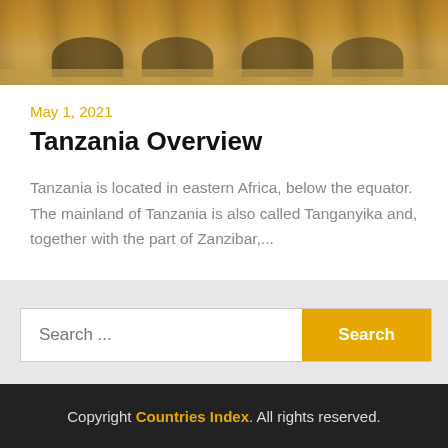[Figure (photo): Partial photo of vehicles/bicycles on sandy ground, cropped at top]
May 1, 2021
Tanzania Overview
Tanzania is located in eastern Africa, below the equator. The mainland of Tanzania is also called Tanganyika and, together with the part of Zanzibar,...
Search ...
Copyright Countries Index. All rights reserved.